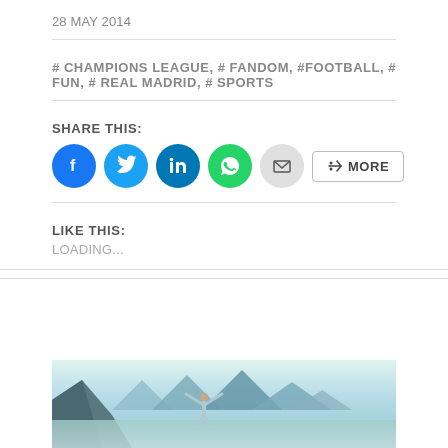28 MAY 2014
# CHAMPIONS LEAGUE, # FANDOM, #FOOTBALL, # FUN, # REAL MADRID, # SPORTS
SHARE THIS:
[Figure (infographic): Social share buttons: Facebook (blue circle), Twitter (blue circle), LinkedIn (dark blue circle), WhatsApp (green circle), Email (grey circle), and a MORE button with share icon]
LIKE THIS:
LOADING...
[Figure (photo): Person standing with arms raised wide against a mountain landscape with a large glacial lake, mountains in the background, teal/mint color tones]